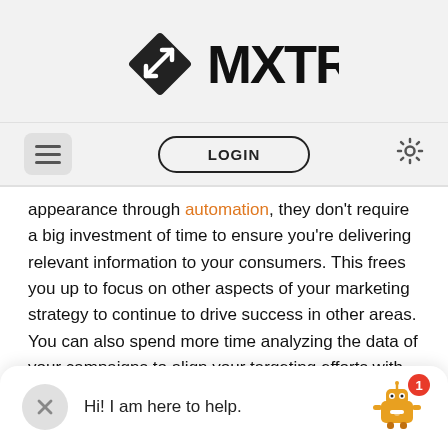[Figure (logo): MXTR logo with diamond/arrow icon and stylized text MXTR]
[Figure (screenshot): Navigation bar with hamburger menu, LOGIN button, and settings gear icon]
appearance through automation, they don't require a big investment of time to ensure you're delivering relevant information to your consumers. This frees you up to focus on other aspects of your marketing strategy to continue to drive success in other areas. You can also spend more time analyzing the data of your campaigns to align your targeting efforts with your business and advertising goals.
[Figure (infographic): Chat widget bar at the bottom showing a close X button, text 'Hi! I am here to help.', and a robot icon with a red notification badge showing 1]